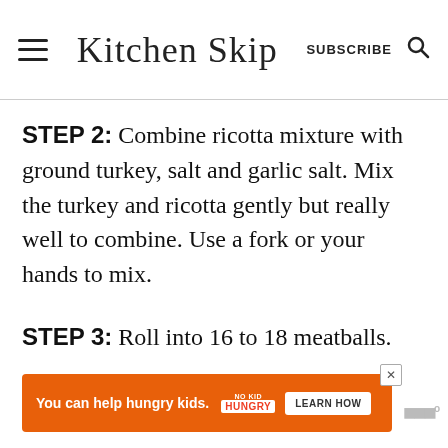Kitchen Skip — SUBSCRIBE
STEP 2: Combine ricotta mixture with ground turkey, salt and garlic salt. Mix the turkey and ricotta gently but really well to combine. Use a fork or your hands to mix.
STEP 3: Roll into 16 to 18 meatballs. Bake at 425 F for about 20 minutes.
[Figure (other): Advertisement banner: orange background with text 'You can help hungry kids.' No Kid Hungry logo and 'LEARN HOW' button]